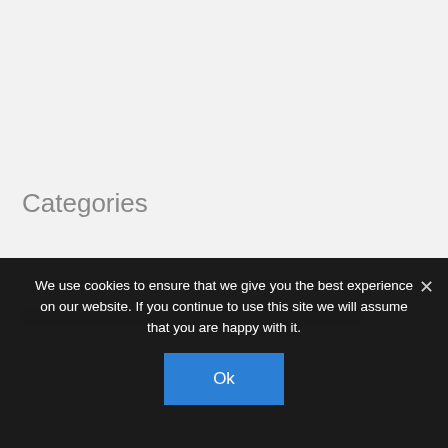Categories
Uncategorized
We use cookies to ensure that we give you the best experience on our website. If you continue to use this site we will assume that you are happy with it.